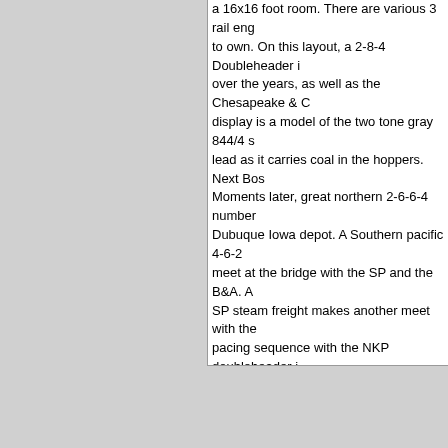a 16x16 foot room. There are various 3 rail engines to own. On this layout, a 2-8-4 Doubleheader is over the years, as well as the Chesapeake & O display is a model of the two tone gray 844/4 s lead as it carries coal in the hoppers. Next Bos Moments later, great northern 2-6-6-4 number Dubuque Iowa depot. A Southern pacific 4-6-2 meet at the bridge with the SP and the B&A. A SP steam freight makes another meet with the pacing sequence with the NKP doubleheader i Back at the turntable, iti¿½s the SP steameri¿ chase of 759 is included. At last with coal in the one of the Berkshires, as well as the details of Not to mention a trolley being paced, as well a
Overall, NKP 765 Engineer Rich Melvin did an
Additional remarks by Steamboy:
Narration: Just enough.
Would kids enjoy this? Yes.
Image quality: Excellent!
DVD Value: Excellent Value!
Recommend to others? Definitely.
Did you find this review useful? Yes